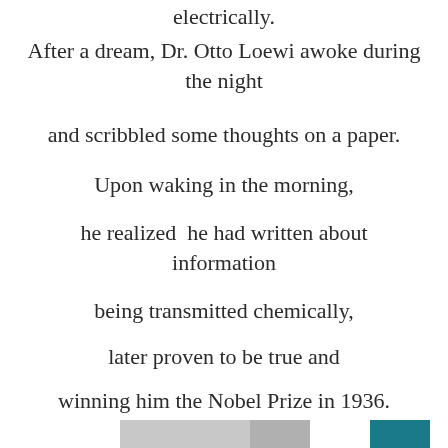electrically.
After a dream, Dr. Otto Loewi awoke during the night
and scribbled some thoughts on a paper.
Upon waking in the morning,
he realized  he had written about information
being transmitted chemically,
later proven to be true and
winning him the Nobel Prize in 1936.
[Figure (other): Bottom bar graphic with gray and teal colored sections]